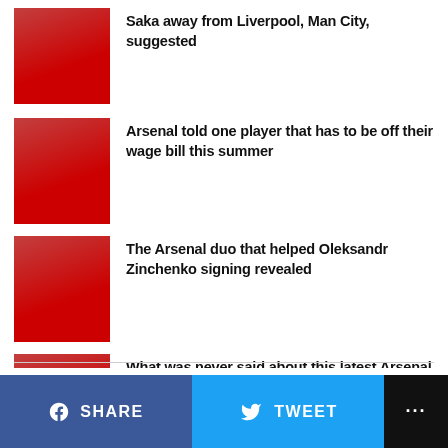Saka away from Liverpool, Man City, suggested
Arsenal told one player that has to be off their wage bill this summer
The Arsenal duo that helped Oleksandr Zinchenko signing revealed
What was never said about this latest Arsenal recruit disclosed by pundit
SHARE
TWEET
...